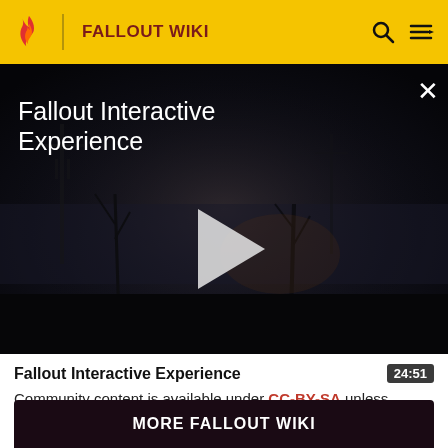FALLOUT WIKI
[Figure (screenshot): Dark post-apocalyptic video still showing a foggy wasteland with dead trees and utility poles; video title 'Fallout Interactive Experience' overlaid in white; play button in center; close X button top right]
Fallout Interactive Experience
Community content is available under CC-BY-SA unless otherwise noted.
MORE FALLOUT WIKI